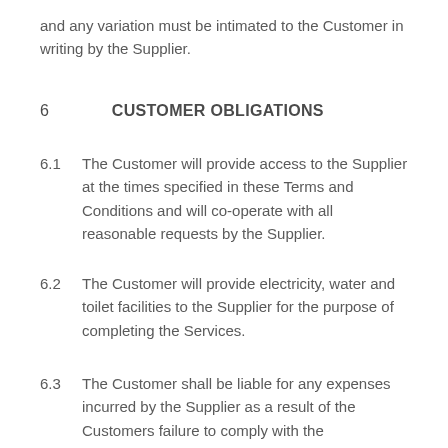and any variation must be intimated to the Customer in writing by the Supplier.
6    CUSTOMER OBLIGATIONS
6.1    The Customer will provide access to the Supplier at the times specified in these Terms and Conditions and will co-operate with all reasonable requests by the Supplier.
6.2    The Customer will provide electricity, water and toilet facilities to the Supplier for the purpose of completing the Services.
6.3    The Customer shall be liable for any expenses incurred by the Supplier as a result of the Customers failure to comply with the